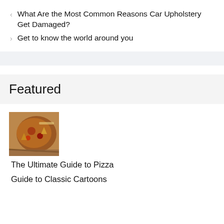< What Are the Most Common Reasons Car Upholstery Get Damaged?
> Get to know the world around you
Featured
[Figure (photo): Thumbnail image of pizza with toppings on a wooden surface]
The Ultimate Guide to Pizza
Guide to Classic Cartoons